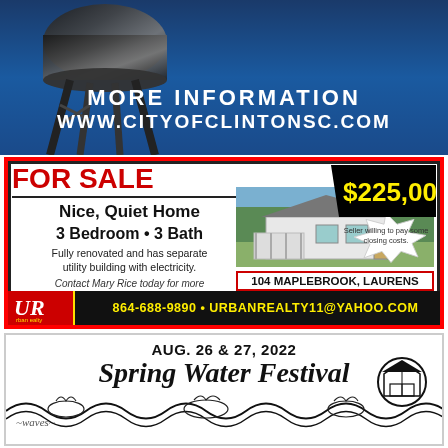[Figure (photo): Blue background with water tower silhouette and white bold text: MORE INFORMATION / WWW.CITYOFCLINTONSC.COM]
[Figure (infographic): Real estate advertisement for FOR SALE property at 104 Maplebrook, Laurens. Nice Quiet Home, 3 Bedroom 3 Bath, $225,000. Urban Realty contact info.]
[Figure (infographic): Spring Water Festival advertisement, Aug. 26 & 27, 2022 with decorative water waves and gazebo logo.]